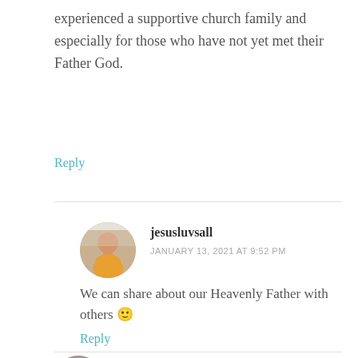experienced a supportive church family and especially for those who have not yet met their Father God.
Reply
jesusluvsall
JANUARY 13, 2021 AT 9:52 PM
[Figure (photo): Circular avatar photo of a man in an orange/yellow shirt]
We can share about our Heavenly Father with others 🙂
Reply
BrilliantChaos